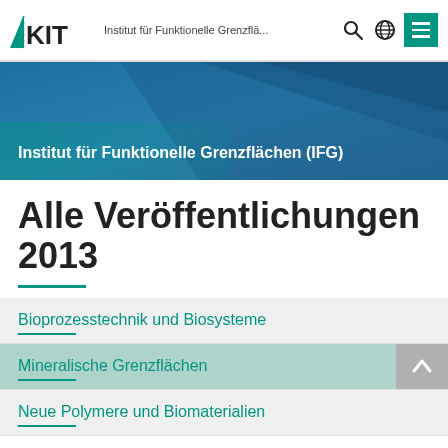Institut für Funktionelle Grenzflä...
[Figure (screenshot): KIT website header with logo, navigation icons (search, globe, menu), and teal-blue hero banner with diagonal design and text 'Institut für Funktionelle Grenzflächen (IFG)']
Alle Veröffentlichungen 2013
Bioprozesstechnik und Biosysteme
Mineralische Grenzflächen
Neue Polymere und Biomaterialien